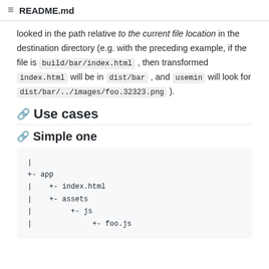README.md
looked in the path relative to the current file location in the destination directory (e.g. with the preceding example, if the file is build/bar/index.html , then transformed index.html will be in dist/bar , and usemin will look for dist/bar/../images/foo.32323.png ).
Use cases
Simple one
|
+- app
|    +- index.html
|    +- assets
|         +- js
|              +- foo.js